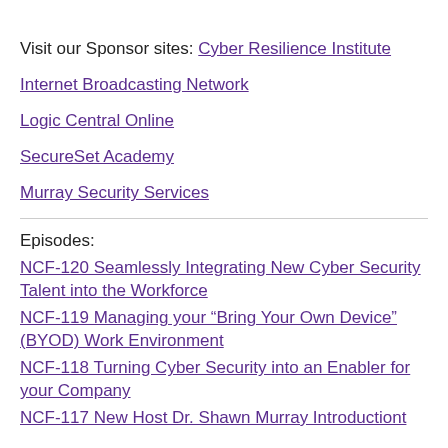Visit our Sponsor sites: Cyber Resilience Institute
Internet Broadcasting Network
Logic Central Online
SecureSet Academy
Murray Security Services
Episodes:
NCF-120 Seamlessly Integrating New Cyber Security Talent into the Workforce
NCF-119 Managing your “Bring Your Own Device” (BYOD) Work Environment
NCF-118 Turning Cyber Security into an Enabler for your Company
NCF-117 New Host Dr. Shawn Murray Introductiont